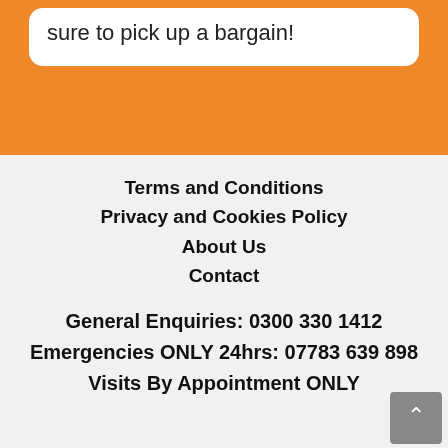sure to pick up a bargain!
Terms and Conditions
Privacy and Cookies Policy
About Us
Contact
General Enquiries: 0300 330 1412
Emergencies ONLY 24hrs: 07783 639 898
Visits By Appointment ONLY